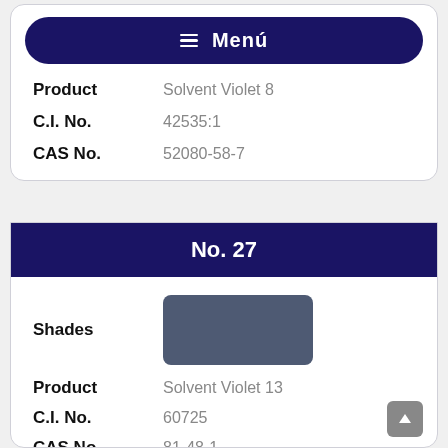Menú
Product   Solvent Violet 8
C.I. No.   42535:1
CAS No.   52080-58-7
No. 27
[Figure (illustration): A dark blue-grey color swatch rectangle representing the shade of Solvent Violet 13]
Shades
Product   Solvent Violet 13
C.I. No.   60725
CAS No.   81-48-1